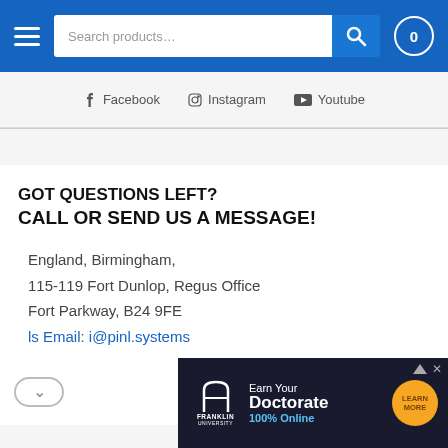[Figure (screenshot): Website navigation bar with hamburger menu, search box, search button, and cart badge showing 0]
f Facebook   Instagram   Youtube
GOT QUESTIONS LEFT?
CALL OR SEND US A MESSAGE!
England, Birmingham,
115-119 Fort Dunlop, Regus Office
Fort Parkway, B24 9FE
ls Email: i@pinl.systems
[Figure (screenshot): Franklin University advertisement banner: Earn Your Doctorate 100% Online with LEARN MORE button]